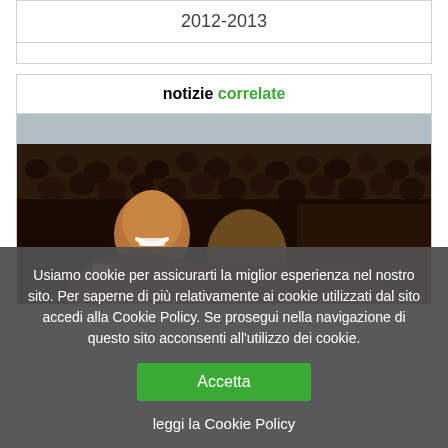| 2012-2013 |
|  |
notizie correlate
[Figure (photo): Rugby players celebrating in a group hug, wearing maroon jerseys, with a large crowd in the background at a stadium]
Usiamo cookie per assicurarti la miglior esperienza nel nostro sito. Per saperne di più relativamente ai cookie utilizzati dal sito accedi alla Cookie Policy. Se prosegui nella navigazione di questo sito acconsenti all'utilizzo dei cookie.
Accetta
leggi la Cookie Policy